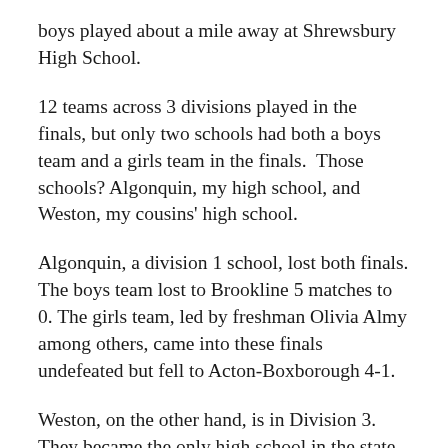boys played about a mile away at Shrewsbury High School.
12 teams across 3 divisions played in the finals, but only two schools had both a boys team and a girls team in the finals.  Those schools? Algonquin, my high school, and Weston, my cousins' high school.
Algonquin, a division 1 school, lost both finals. The boys team lost to Brookline 5 matches to 0. The girls team, led by freshman Olivia Almy among others, came into these finals undefeated but fell to Acton-Boxborough 4-1.
Weston, on the other hand, is in Division 3. They became the only high school in the state